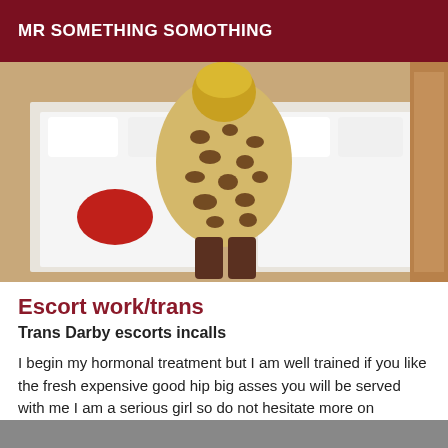MR SOMETHING SOMOTHING
[Figure (photo): Person wearing leopard print dress viewed from behind, standing between two beds with white linens in a hotel room. A red item of clothing is visible on the left bed.]
Escort work/trans
Trans Darby escorts incalls
I begin my hormonal treatment but I am well trained if you like the fresh expensive good hip big asses you will be served with me I am a serious girl so do not hesitate more on request, I also move makeup on the spot. Rate: 100*.